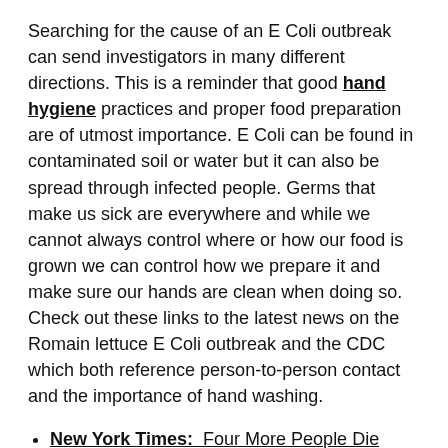Searching for the cause of an E Coli outbreak can send investigators in many different directions. This is a reminder that good hand hygiene practices and proper food preparation are of utmost importance. E Coli can be found in contaminated soil or water but it can also be spread through infected people. Germs that make us sick are everywhere and while we cannot always control where or how our food is grown we can control how we prepare it and make sure our hands are clean when doing so. Check out these links to the latest news on the Romain lettuce E Coli outbreak and the CDC which both reference person-to-person contact and the importance of hand washing.
New York Times: Four More People Die From Tainted Romaine Lettuce
CDC.gov: Multistate Outbreak of E. coli O157:H7 Infections Linked to Romaine Lettuce
Discount code 'SUMMER' good for 10% Off! extended to June